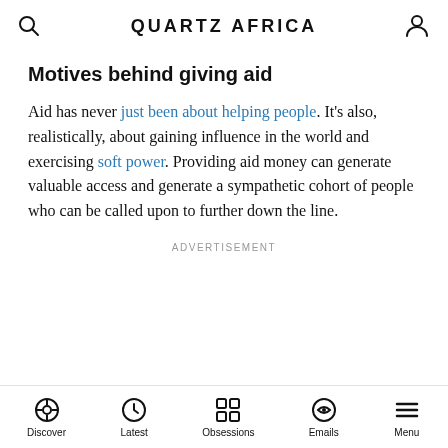QUARTZ AFRICA
Motives behind giving aid
Aid has never just been about helping people. It's also, realistically, about gaining influence in the world and exercising soft power. Providing aid money can generate valuable access and generate a sympathetic cohort of people who can be called upon to further down the line.
ADVERTISEMENT
Discover | Latest | Obsessions | Emails | Menu